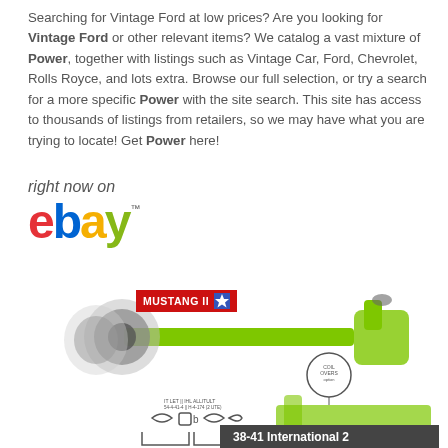Searching for Vintage Ford at low prices? Are you looking for Vintage Ford or other relevant items? We catalog a vast mixture of Power, together with listings such as Vintage Car, Ford, Chevrolet, Rolls Royce, and lots extra. Browse our full selection, or try a search for a more specific Power with the site search. This site has access to thousands of listings from retailers, so we may have what you are trying to locate! Get Power here!
[Figure (logo): eBay logo with 'right now on' text above it]
[Figure (photo): Product photo of a Mustang II front suspension/axle assembly in green, with parts diagram below and '38-41 International 2' label at bottom right]